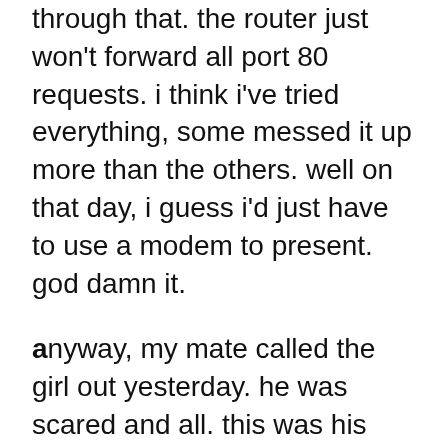through that. the router just won't forward all port 80 requests. i think i've tried everything, some messed it up more than the others. well on that day, i guess i'd just have to use a modem to present. god damn it.
anyway, my mate called the girl out yesterday. he was scared and all. this was his first ordeal and his first time watching a movie … in fucking 22 years. how fucking shitty!
anyway, the girl just HAD to drag another 2 girls along. maybe as their safety net? what's it with girls asking girls out… a bunch of them anyway. can't they just like stick to one fella and be